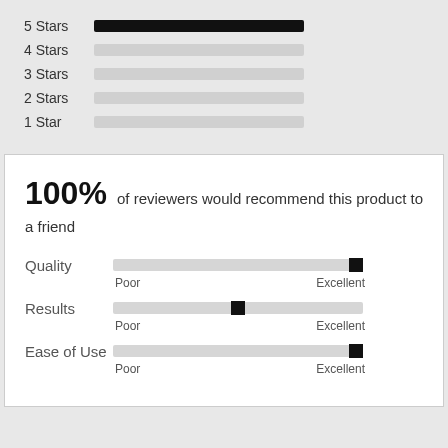[Figure (bar-chart): Star Rating Distribution]
100% of reviewers would recommend this product to a friend
[Figure (infographic): Three rating sliders: Quality (near Excellent), Results (middle), Ease of Use (near Excellent). Each slider has Poor on left and Excellent on right labels.]